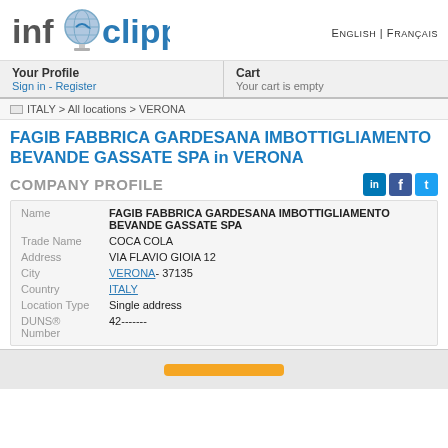infoclipper | ENGLISH | FRANÇAIS
Your Profile
Sign in - Register
Cart
Your cart is empty
ITALY > All locations > VERONA
FAGIB FABBRICA GARDESANA IMBOTTIGLIAMENTO BEVANDE GASSATE SPA in VERONA
COMPANY PROFILE
| Field | Value |
| --- | --- |
| Name | FAGIB FABBRICA GARDESANA IMBOTTIGLIAMENTO BEVANDE GASSATE SPA |
| Trade Name | COCA COLA |
| Address | VIA FLAVIO GIOIA 12 |
| City | VERONA- 37135 |
| Country | ITALY |
| Location Type | Single address |
| DUNS® Number | 42------- |